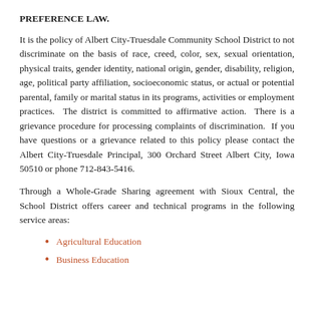PREFERENCE LAW.
It is the policy of Albert City-Truesdale Community School District to not discriminate on the basis of race, creed, color, sex, sexual orientation, physical traits, gender identity, national origin, gender, disability, religion, age, political party affiliation, socioeconomic status, or actual or potential parental, family or marital status in its programs, activities or employment practices.  The district is committed to affirmative action.  There is a grievance procedure for processing complaints of discrimination.  If you have questions or a grievance related to this policy please contact the Albert City-Truesdale Principal, 300 Orchard Street Albert City, Iowa 50510 or phone 712-843-5416.
Through a Whole-Grade Sharing agreement with Sioux Central, the School District offers career and technical programs in the following service areas:
Agricultural Education
Business Education